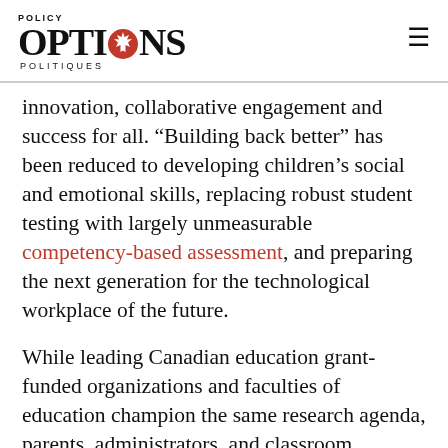POLICY OPTIONS POLITIQUES
innovation, collaborative engagement and success for all. “Building back better” has been reduced to developing children’s social and emotional skills, replacing robust student testing with largely unmeasurable competency-based assessment, and preparing the next generation for the technological workplace of the future.
While leading Canadian education grant-funded organizations and faculties of education champion the same research agenda, parents, administrators, and classroom teachers are beginning to